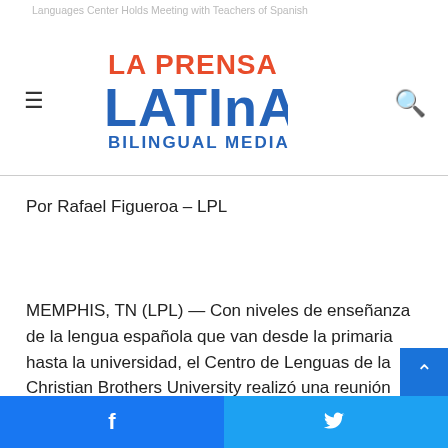La Prensa Latina Bilingual Media — navigation header with logo, hamburger menu, search icon
Languages Center Holds Meeting with Teachers of Spanish
Por Rafael Figueroa – LPL
MEMPHIS, TN (LPL) — Con niveles de enseñanza de la lengua española que van desde la primaria hasta la universidad, el Centro de Lenguas de la Christian Brothers University realizó una reunión con maestras de español en su oficina.
La iniciativa tiene el objetivo de crear una comunidad de
Facebook Twitter social sharing bar